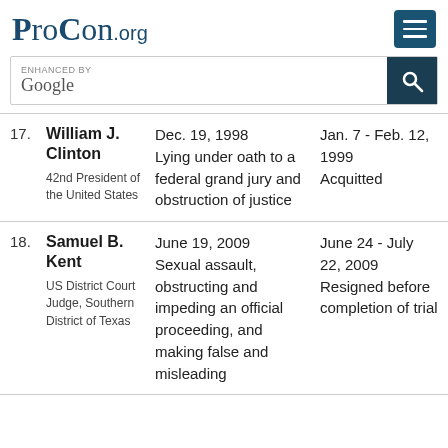ProCon.org
| # | Name | Charges Date | Trial Dates / Result |
| --- | --- | --- | --- |
| 17. | William J. Clinton
42nd President of the United States | Dec. 19, 1998
Lying under oath to a federal grand jury and obstruction of justice | Jan. 7 - Feb. 12, 1999
Acquitted |
| 18. | Samuel B. Kent
US District Court Judge, Southern District of Texas | June 19, 2009
Sexual assault, obstructing and impeding an official proceeding, and making false and misleading | June 24 - July 22, 2009
Resigned before completion of trial |